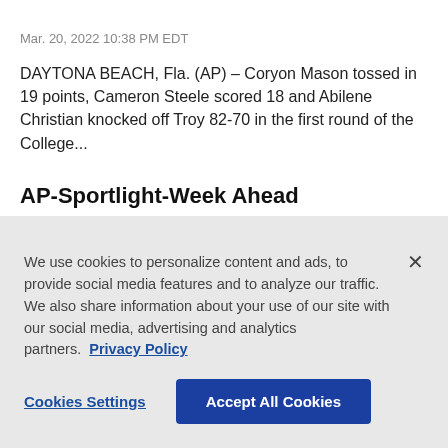Mar. 20, 2022 10:38 PM EDT
DAYTONA BEACH, Fla. (AP) – Coryon Mason tossed in 19 points, Cameron Steele scored 18 and Abilene Christian knocked off Troy 82-70 in the first round of the College...
AP-Sportlight-Week Ahead
By The Associated Press Mar. 17, 2022 10:00 AM EDT
March 18 1945 – Maurice Richard of the Montreal Canadiens becomes the first NHL player to score 50 goals in a season during
We use cookies to personalize content and ads, to provide social media features and to analyze our traffic. We also share information about your use of our site with our social media, advertising and analytics partners. Privacy Policy
Cookies Settings
Accept All Cookies